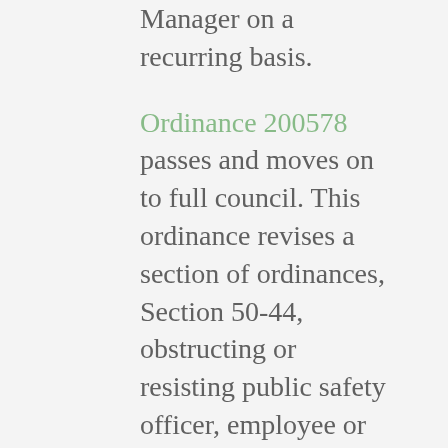Manager on a recurring basis.
Ordinance 200578 passes and moves on to full council. This ordinance revises a section of ordinances, Section 50-44, obstructing or resisting public safety officer, employee or inspector to include a requirement that the prohibited acts be done knowingly.
Ordinance 200579 passes and moves on to full council. This ordinance seems to be a response to the 2019 incident where Roderick Reed captured two KCPD officers